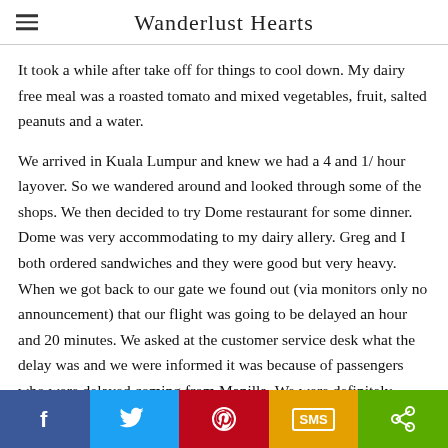Wanderlust Hearts
It took a while after take off for things to cool down. My dairy free meal was a roasted tomato and mixed vegetables, fruit, salted peanuts and a water.
We arrived in Kuala Lumpur and knew we had a 4 and 1/ hour layover. So we wandered around and looked through some of the shops. We then decided to try Dome restaurant for some dinner. Dome was very accommodating to my dairy allery. Greg and I both ordered sandwiches and they were good but very heavy.  When we got back to our gate we found out (via monitors only no announcement) that our flight was going to be delayed an hour and 20 minutes. We asked at the customer service desk what the delay was and we were informed it was because of passengers who were delayed coming from Manilla. We were definitely frustrated by this but at least we had a long layover in London. We decided to get a coffee and tea at the Coffee Bean and Tea Leaf. The drinks were good but upon
f  [twitter]  [pinterest]  SMS  [share]